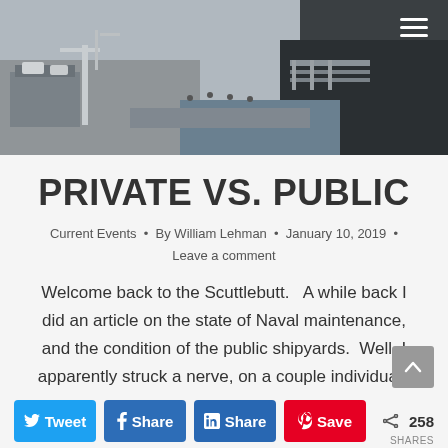[Figure (photo): Aerial view of a naval shipyard with docked ships, industrial equipment, and workers visible on the dock.]
PRIVATE VS. PUBLIC
Current Events  •  By William Lehman  •  January 10, 2019  •  Leave a comment
Welcome back to the Scuttlebutt.   A while back I did an article on the state of Naval maintenance, and the condition of the public shipyards.  Well, I apparently struck a nerve, on a couple individuals that work for beltway bandits, because they screamed bloody murder.  As a result, I'm going to revisit it. Oh,...